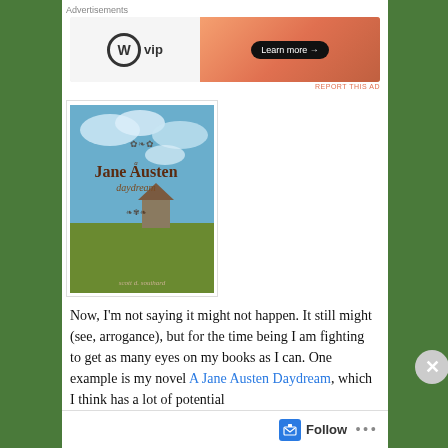Advertisements
[Figure (screenshot): WordPress VIP advertisement banner with gradient orange background and Learn more button]
[Figure (photo): Book cover of 'A Jane Austen Daydream' by Scott D. Southard, showing a countryside scene with blue sky and a small house]
Now, I'm not saying it might not happen. It still might (see, arrogance), but for the time being I am fighting to get as many eyes on my books as I can. One example is my novel A Jane Austen Daydream, which I think has a lot of potential
Advertisements
[Figure (screenshot): Longreads advertisement banner with red background and Longreads logo]